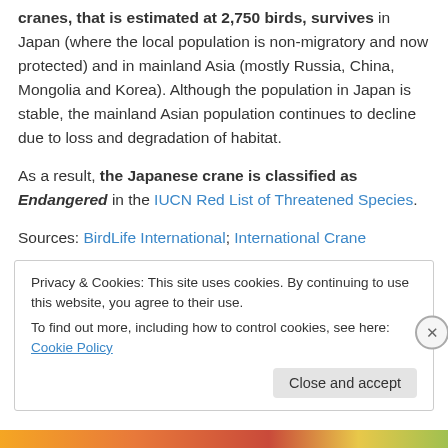cranes, that is estimated at 2,750 birds, survives in Japan (where the local population is non-migratory and now protected) and in mainland Asia (mostly Russia, China, Mongolia and Korea). Although the population in Japan is stable, the mainland Asian population continues to decline due to loss and degradation of habitat.
As a result, the Japanese crane is classified as Endangered in the IUCN Red List of Threatened Species.
Sources: BirdLife International; International Crane
Privacy & Cookies: This site uses cookies. By continuing to use this website, you agree to their use. To find out more, including how to control cookies, see here: Cookie Policy